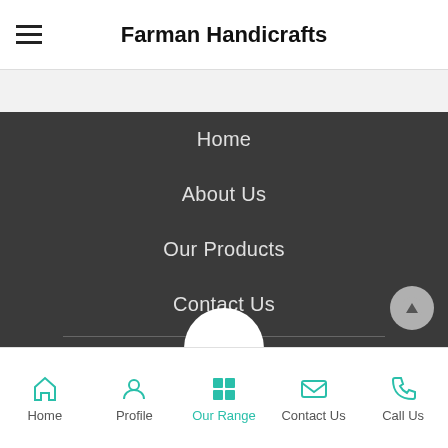Farman Handicrafts
Home
About Us
Our Products
Contact Us
Share via
© Farman Handicrafts
Home | Profile | Our Range | Contact Us | Call Us